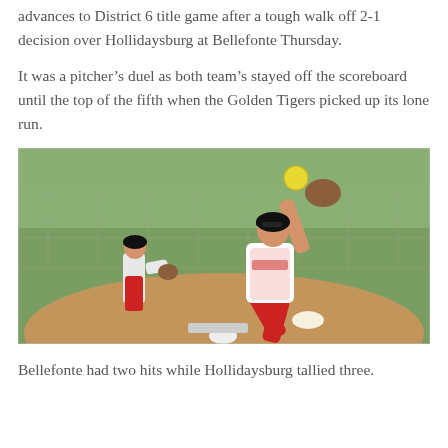advances to District 6 title game after a tough walk off 2-1 decision over Hollidaysburg at Bellefonte Thursday.
It was a pitcher's duel as both team's stayed off the scoreboard until the top of the fifth when the Golden Tigers picked up its lone run.
[Figure (photo): Softball pitcher in red uniform mid-wind-up delivering a pitch, with a fielder in red and white uniform visible in the background on a dirt and grass field with chain-link fence.]
Bellefonte had two hits while Hollidaysburg tallied three.